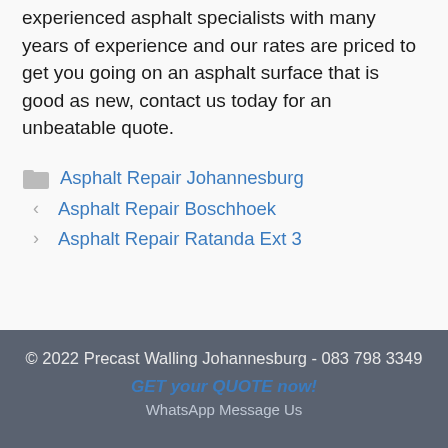experienced asphalt specialists with many years of experience and our rates are priced to get you going on an asphalt surface that is good as new, contact us today for an unbeatable quote.
Asphalt Repair Johannesburg
Asphalt Repair Boschhoek
Asphalt Repair Ratanda Ext 3
© 2022 Precast Walling Johannesburg - 083 798 3349
GET your QUOTE now!
WhatsApp Message Us